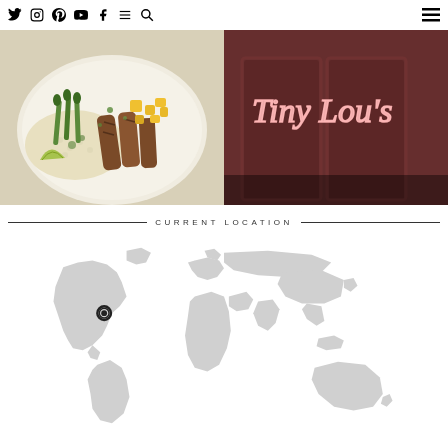Navigation icons: Twitter, Instagram, Pinterest, YouTube, Facebook, Blog, Search, Menu
[Figure (photo): Food photo showing a plate with grilled chicken, mango salsa, asparagus, and cauliflower rice with lime]
[Figure (photo): Restaurant photo showing Tiny Lou's neon sign in pink/red lighting against dark background]
CURRENT LOCATION
[Figure (map): World map in light gray with a location pin marker indicating a position in the United States/North America region]